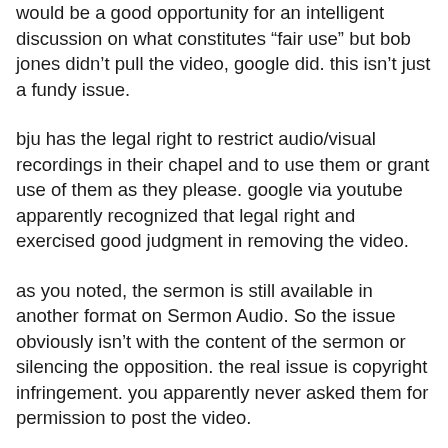would be a good opportunity for an intelligent discussion on what constitutes “fair use” but bob jones didn’t pull the video, google did. this isn’t just a fundy issue.
bju has the legal right to restrict audio/visual recordings in their chapel and to use them or grant use of them as they please. google via youtube apparently recognized that legal right and exercised good judgment in removing the video.
as you noted, the sermon is still available in another format on Sermon Audio. So the issue obviously isn’t with the content of the sermon or silencing the opposition. the real issue is copyright infringement. you apparently never asked them for permission to post the video.
fundamentalism isn’t perfect and i think that it’s great